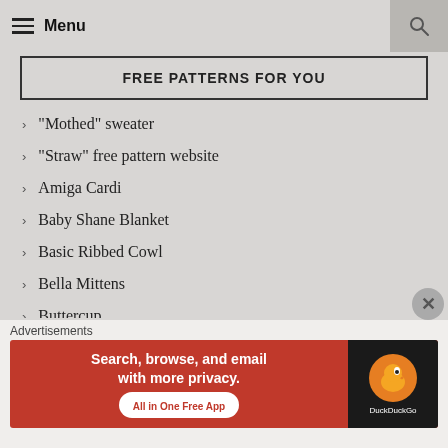Menu
FREE PATTERNS FOR YOU
"Mothed" sweater
"Straw" free pattern website
Amiga Cardi
Baby Shane Blanket
Basic Ribbed Cowl
Bella Mittens
Buttercup
Advertisements
[Figure (screenshot): DuckDuckGo advertisement banner: 'Search, browse, and email with more privacy. All in One Free App' with DuckDuckGo logo on dark background]